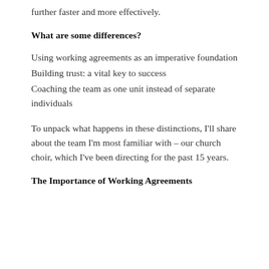further faster and more effectively.
What are some differences?
Using working agreements as an imperative foundation
Building trust: a vital key to success
Coaching the team as one unit instead of separate individuals
To unpack what happens in these distinctions, I'll share about the team I'm most familiar with – our church choir, which I've been directing for the past 15 years.
The Importance of Working Agreements